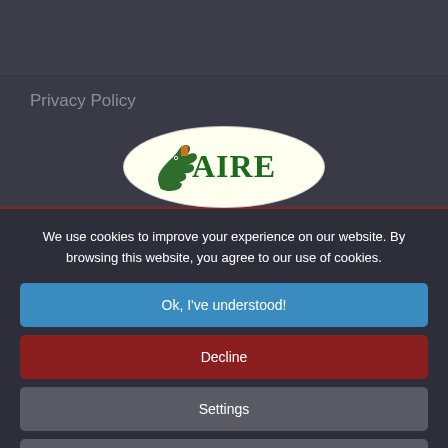Privacy Policy
[Figure (logo): AIRE logo — white oval background with a green horse head and the text AIRE in green serif letters with an orange accent]
We use cookies to improve your experience on our website. By browsing this website, you agree to our use of cookies.
Ok, I've understood!
Decline
Settings
More Info